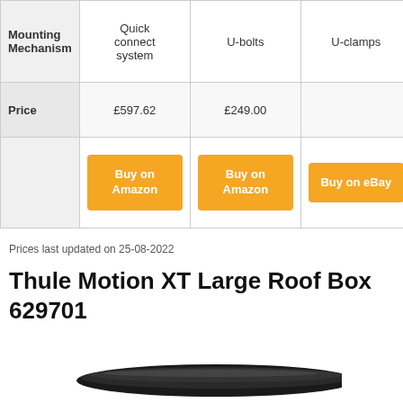|  | Quick connect system | U-bolts | U-clamps |
| --- | --- | --- | --- |
| Mounting Mechanism | Quick connect system | U-bolts | U-clamps |
| Price | £597.62 | £249.00 |  |
|  | Buy on Amazon | Buy on Amazon | Buy on eBay |
Prices last updated on 25-08-2022
Thule Motion XT Large Roof Box 629701
[Figure (photo): Partial image of a black Thule Motion XT Large Roof Box 629701, viewed from above at an angle, showing the curved top surface.]